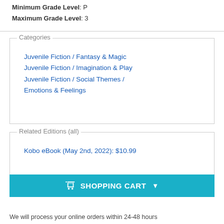Minimum Grade Level: P
Maximum Grade Level: 3
Categories
Juvenile Fiction / Fantasy & Magic
Juvenile Fiction / Imagination & Play
Juvenile Fiction / Social Themes / Emotions & Feelings
Related Editions (all)
Kobo eBook (May 2nd, 2022): $10.99
SHOPPING CART
We will process your online orders within 24-48 hours